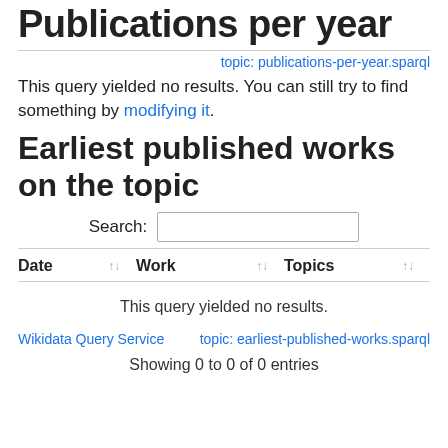Publications per year
topic: publications-per-year.sparql
This query yielded no results. You can still try to find something by modifying it.
Earliest published works on the topic
| Date | Work | Topics |
| --- | --- | --- |
Wikidata Query Service
topic: earliest-published-works.sparql
Showing 0 to 0 of 0 entries